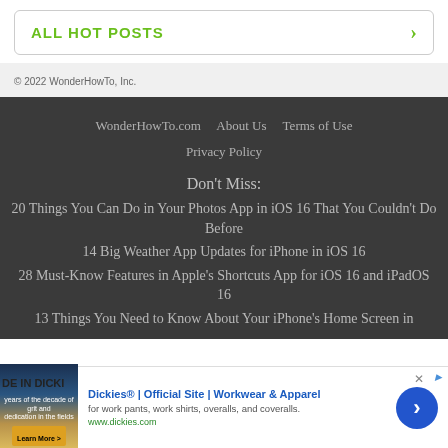ALL HOT POSTS
© 2022 WonderHowTo, Inc.
WonderHowTo.com   About Us   Terms of Use   Privacy Policy
Don't Miss:
20 Things You Can Do in Your Photos App in iOS 16 That You Couldn't Do Before
14 Big Weather App Updates for iPhone in iOS 16
28 Must-Know Features in Apple's Shortcuts App for iOS 16 and iPadOS 16
13 Things You Need to Know About Your iPhone's Home Screen in
[Figure (screenshot): Advertisement for Dickies workwear showing brand image, headline, description, and CTA button]